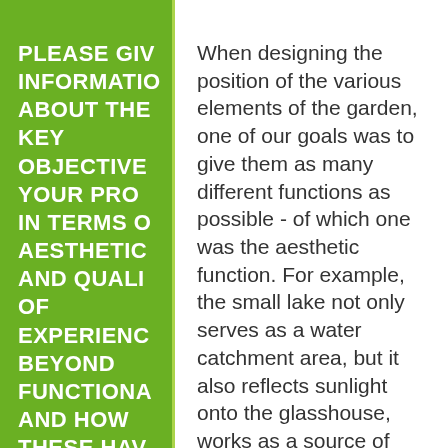PLEASE GIVE INFORMATION ABOUT THE KEY OBJECTIVES YOUR PROJECT IN TERMS OF AESTHETIC AND QUALITY OF EXPERIENCE BEYOND FUNCTIONALITY AND HOW THESE HAVE BEEN MET. PLEASE HIGHLIGHT
When designing the position of the various elements of the garden, one of our goals was to give them as many different functions as possible - of which one was the aesthetic function. For example, the small lake not only serves as a water catchment area, but it also reflects sunlight onto the glasshouse, works as a source of water for pollinators, provides fish manure and plant-based